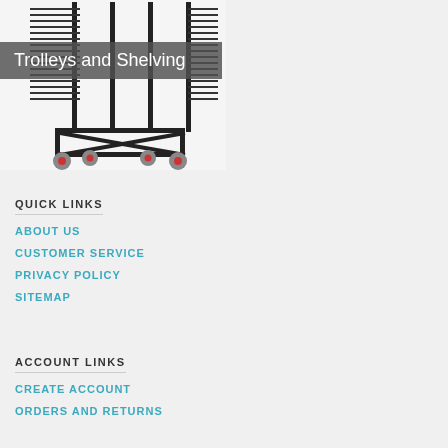[Figure (photo): A black metal trolley/shelving unit with multiple wire shelf levels and red wheel casters, shown against a white background]
Trolleys and Shelving
QUICK LINKS
ABOUT US
CUSTOMER SERVICE
PRIVACY POLICY
SITEMAP
ACCOUNT LINKS
CREATE ACCOUNT
ORDERS AND RETURNS